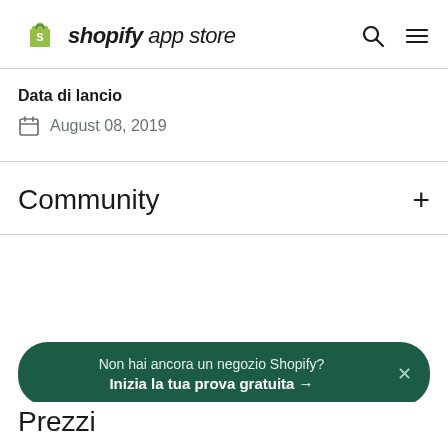shopify app store
Data di lancio
August 08, 2019
Community
Non hai ancora un negozio Shopify? Inizia la tua prova gratuita →
Prezzi